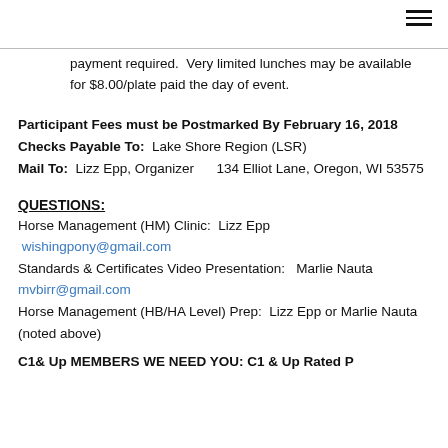payment required.  Very limited lunches may be available for $8.00/plate paid the day of event.
Participant Fees must be Postmarked By February 16, 2018
Checks Payable To:  Lake Shore Region (LSR)
Mail To:  Lizz Epp, Organizer      134 Elliot Lane, Oregon, WI 53575
QUESTIONS:
Horse Management (HM) Clinic:  Lizz Epp
wishingpony@gmail.com
Standards & Certificates Video Presentation:   Marlie Nauta  mvbirr@gmail.com
Horse Management (HB/HA Level) Prep:  Lizz Epp or Marlie Nauta (noted above)
C1& Up MEMBERS WE NEED YOU: C1 & Up Rated P...